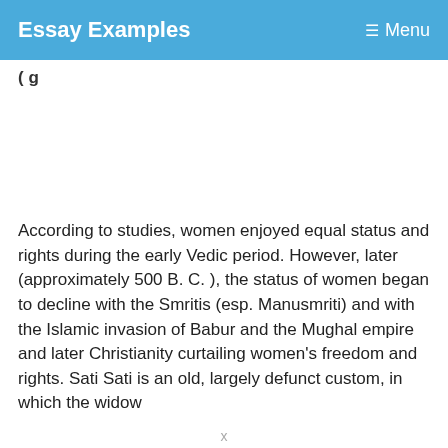Essay Examples    Menu
(partial heading text)
According to studies, women enjoyed equal status and rights during the early Vedic period. However, later (approximately 500 B. C. ), the status of women began to decline with the Smritis (esp. Manusmriti) and with the Islamic invasion of Babur and the Mughal empire and later Christianity curtailing women's freedom and rights. Sati Sati is an old, largely defunct custom, in which the widow